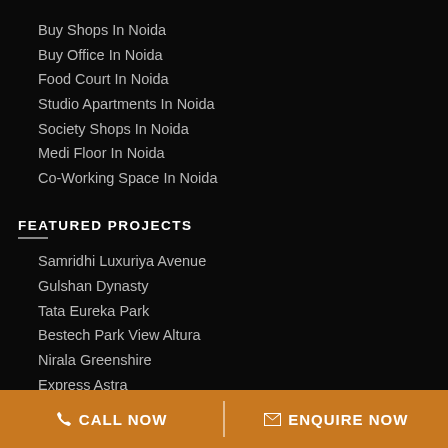Buy Shops In Noida
Buy Office In Noida
Food Court In Noida
Studio Apartments In Noida
Society Shops In Noida
Medi Floor In Noida
Co-Working Space In Noida
FEATURED PROJECTS
Samridhi Luxuriya Avenue
Gulshan Dynasty
Tata Eureka Park
Bestech Park View Altura
Nirala Greenshire
Express Astra
ATS Destinaire
CALL NOW   ENQUIRE NOW